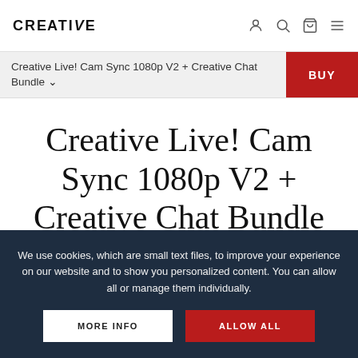CREATIVE
Creative Live! Cam Sync 1080p V2 + Creative Chat Bundle
Creative Live! Cam Sync 1080p V2 + Creative Chat Bundle
We use cookies, which are small text files, to improve your experience on our website and to show you personalized content. You can allow all or manage them individually.
MORE INFO
ALLOW ALL